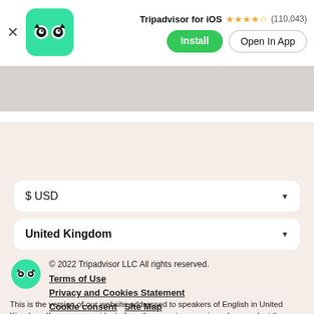[Figure (screenshot): Tripadvisor app banner with logo, app name, star rating (110,043 reviews), Install button, and Open In App button]
Tripadvisor for iOS ★★★★½ (110,043)
$ USD (dropdown)
United Kingdom (dropdown)
[Figure (logo): Tripadvisor green circle owl logo in footer]
© 2022 Tripadvisor LLC All rights reserved.
Terms of Use
Privacy and Cookies Statement
Cookie consent   Site Map
How the site works   Contact us
This is the version of our website addressed to speakers of English in United Kingdom. If you are a resident of another country or region, please select the appropriate version of Tripadvisor for your country or region in the drop-down menu. more